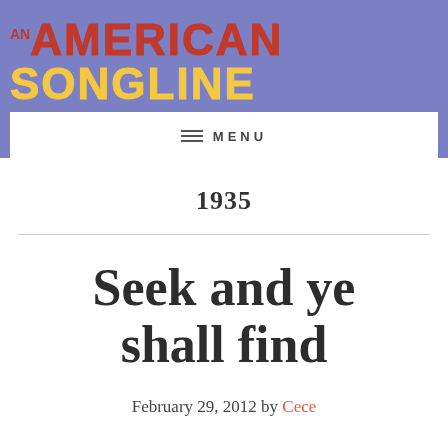AN AMERICAN SONGLINE
MENU
1935
Seek and ye shall find
February 29, 2012 by Cece